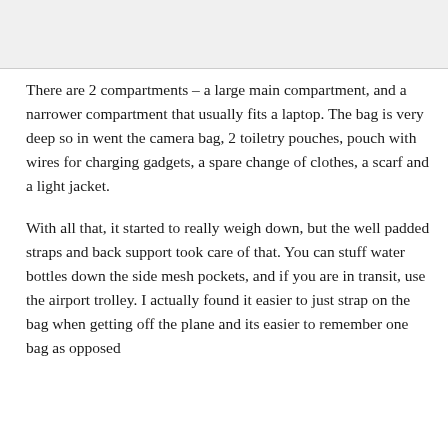[Figure (photo): Top portion of image cut off at top of page, light gray area placeholder]
There are 2 compartments – a large main compartment, and a narrower compartment that usually fits a laptop. The bag is very deep so in went the camera bag, 2 toiletry pouches, pouch with wires for charging gadgets, a spare change of clothes, a scarf and a light jacket.
With all that, it started to really weigh down, but the well padded straps and back support took care of that. You can stuff water bottles down the side mesh pockets, and if you are in transit, use the airport trolley. I actually found it easier to just strap on the bag when getting off the plane and its easier to remember one bag as opposed